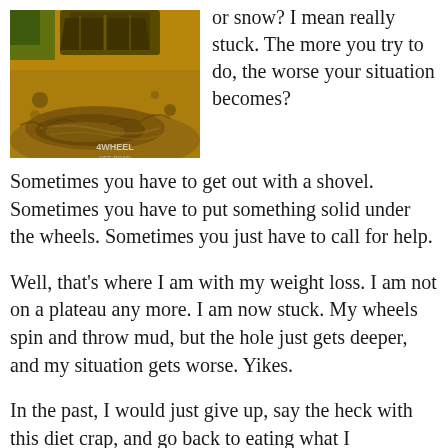[Figure (photo): A vehicle wheel stuck in thick brown mud, with a shovel or equipment visible at the top. Watermark reads '4WHEEL' in the bottom right of the image.]
or snow? I mean really stuck. The more you try to do, the worse your situation becomes? Sometimes you have to get out with a shovel. Sometimes you have to put something solid under the wheels. Sometimes you just have to call for help.
Well, that's where I am with my weight loss. I am not on a plateau any more. I am now stuck. My wheels spin and throw mud, but the hole just gets deeper, and my situation gets worse. Yikes.
In the past, I would just give up, say the heck with this diet crap, and go back to eating what I